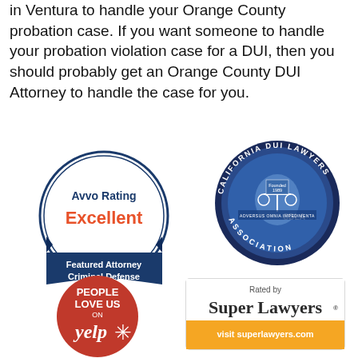in Ventura to handle your Orange County probation case. If you want someone to handle your probation violation case for a DUI, then you should probably get an Orange County DUI Attorney to handle the case for you.
[Figure (logo): Avvo Rating Excellent badge - Featured Attorney Criminal Defense, circular badge with blue ribbon]
[Figure (logo): California DUI Lawyers Association (CDLA) circular badge, dark blue with organization seal, Founded 1989]
[Figure (logo): Yelp 'People Love Us On Yelp' red circular badge with yelp logo]
[Figure (logo): Super Lawyers 'Rated by Super Lawyers - visit superlawyers.com' badge with orange and white sections]